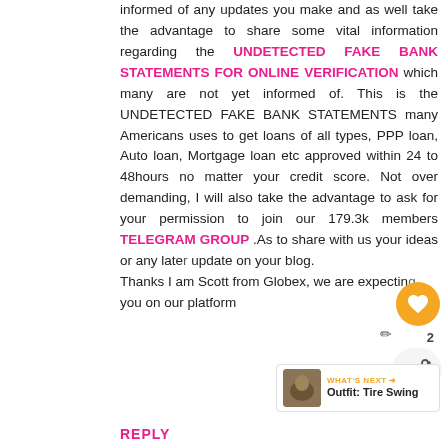informed of any updates you make and as well take the advantage to share some vital information regarding the UNDETECTED FAKE BANK STATEMENTS FOR ONLINE VERIFICATION which many are not yet informed of. This is the UNDETECTED FAKE BANK STATEMENTS many Americans uses to get loans of all types, PPP loan, Auto loan, Mortgage loan etc approved within 24 to 48hours no matter your credit score. Not over demanding, I will also take the advantage to ask for your permission to join our 179.3k members TELEGRAM GROUP .As to share with us your ideas or any latest update on your blog. Thanks I am Scott from Globex, we are expecting you on our platform
REPLY